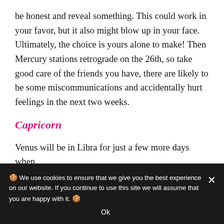be honest and reveal something. This could work in your favor, but it also might blow up in your face. Ultimately, the choice is yours alone to make! Then Mercury stations retrograde on the 26th, so take good care of the friends you have, there are likely to be some miscommunications and accidentally hurt feelings in the next two weeks.
Capricorn
Venus will be in Libra for just a few more days when
🍪 We use cookies to ensure that we give you the best experience on our website. If you continue to use this site we will assume that you are happy with it. 🍪
Ok